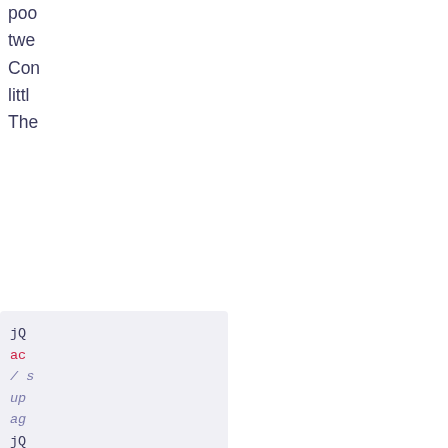poo... twe... Con... littl... The...
[Figure (screenshot): Code block showing jQuery-style code with red method names and italic comments/parameters]
This... you... tha...